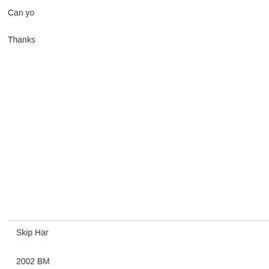[Figure (photo): Cropped car dashboard/steering wheel photo at top]
Join Date: Apr 2005
Posts: 917
Garage
Can yo
Thanks
Skip Har
2002 BM
Mile Clu
2013 BN
2015 Po
June 3rd 2022, 21:33
Charles
Team Z8
[Figure (photo): BMW Z8 gear shift knob with Z8 logo, hand visible at bottom]
It is bot
pouch
[Figure (other): T-shirt/badge icon with partial text]